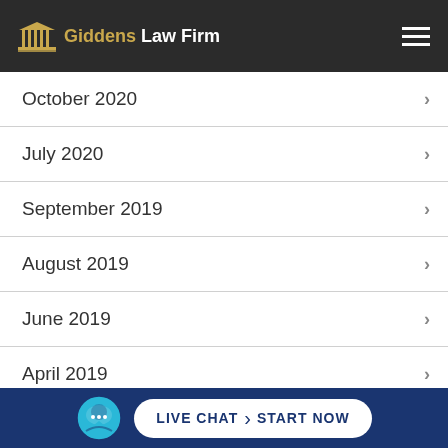Giddens Law Firm
October 2020
July 2020
September 2019
August 2019
June 2019
April 2019
February 2019
January 2019
LIVE CHAT  START NOW